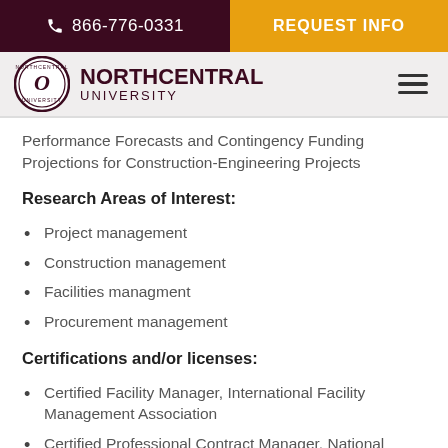866-776-0331 | REQUEST INFO
[Figure (logo): Northcentral University logo with circular seal and wordmark]
Performance Forecasts and Contingency Funding Projections for Construction-Engineering Projects
Research Areas of Interest:
Project management
Construction management
Facilities managment
Procurement management
Certifications and/or licenses:
Certified Facility Manager, International Facility Management Association
Certified Professional Contract Manager, National Contract